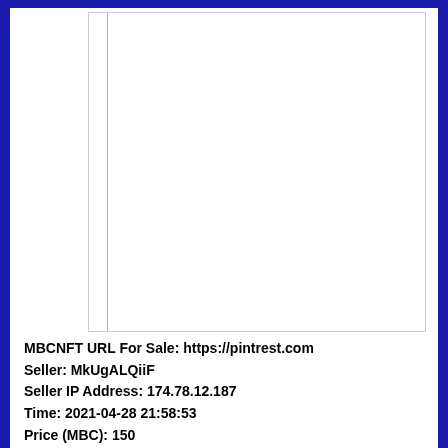[Figure (other): White rectangular image area with a vertical gray line on the left side, mostly blank white space — NFT preview placeholder]
MBCNFT URL For Sale: https://pintrest.com
Seller: MkUgALQiiF
Seller IP Address: 174.78.12.187
Time: 2021-04-28 21:58:53
Price (MBC): 150
Buy this MBCNFT id: 63